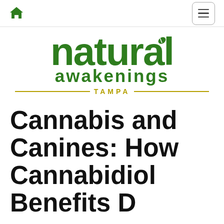Navigation bar with home icon and menu button
[Figure (logo): Natural Awakenings Tampa logo — bold green 'natural' text with leaf accent, 'awakenings' below, 'TAMPA' in gold with decorative lines]
Cannabis and Canines: How Cannabidiol Benefits D…